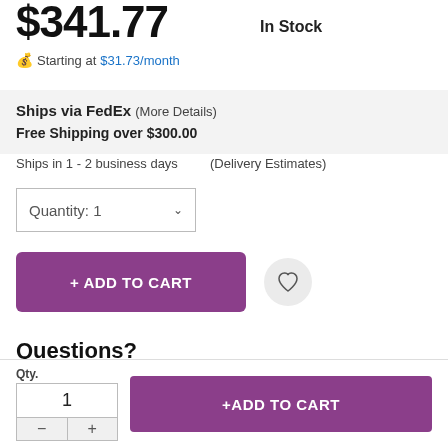$341.77
In Stock
Starting at $31.73/month
Ships via FedEx (More Details)
Free Shipping over $300.00
Ships in 1 - 2 business days    (Delivery Estimates)
Quantity: 1
+ ADD TO CART
Questions?
Contact us for advice or more details.
Our product specialists are here to help.
Qty.
1
− +
+ADD TO CART